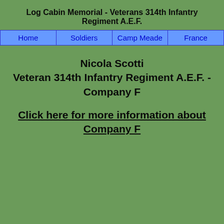Log Cabin Memorial - Veterans 314th Infantry Regiment A.E.F.
| Home | Soldiers | Camp Meade | France |
| --- | --- | --- | --- |
Nicola Scotti
Veteran 314th Infantry Regiment A.E.F. - Company F
Click here for more information about Company F